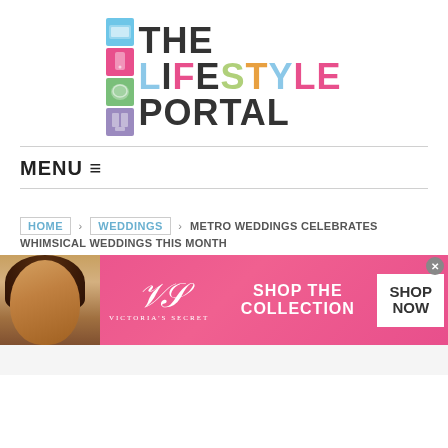[Figure (logo): The Lifestyle Portal logo with colorful icon boxes and multicolored text]
MENU ☰
HOME > WEDDINGS > METRO WEDDINGS CELEBRATES WHIMSICAL WEDDINGS THIS MONTH
[Figure (photo): Victoria's Secret advertisement banner with woman photo, VS logo, 'SHOP THE COLLECTION' text and 'SHOP NOW' button]